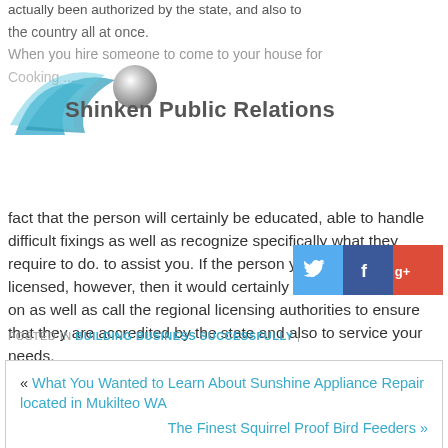actually been authorized by the state, and also to
the country all at once.
[Figure (logo): Shinken Public Relations logo with blue swoosh graphic and 3D silver sphere]
When you hire someone to come to your house for cooking...
fact that the person will certainly be educated, able to handle difficult fixings as well as recognize specifically what they require to do. to assist you. If the person you are hiring is not licensed, however, then it would certainly be a good idea to go on as well as call the regional licensing authorities to ensure that they are accredited by the state and also to service your needs.
[Figure (infographic): Social media share buttons: Twitter (blue), Facebook (dark blue), Google+ (red)]
POSTED IN BUILDING BUSINESS SUCCESSFULLY |
« What You Wanted to Learn About Sunshine Appliance Repair located in Mukilteo WA
The Finest Squirrel Proof Bird Feeders »